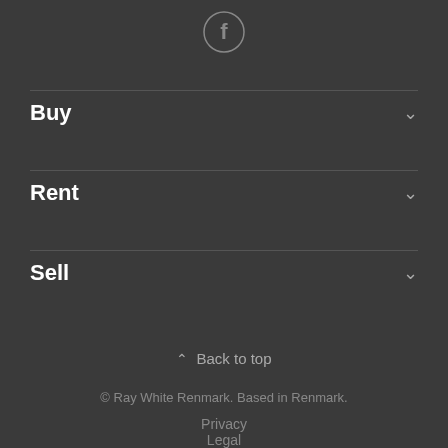[Figure (logo): Facebook icon in a circle]
Buy
Rent
Sell
Back to top
© Ray White Renmark. Based in Renmark.
Privacy
Legal
Feedback